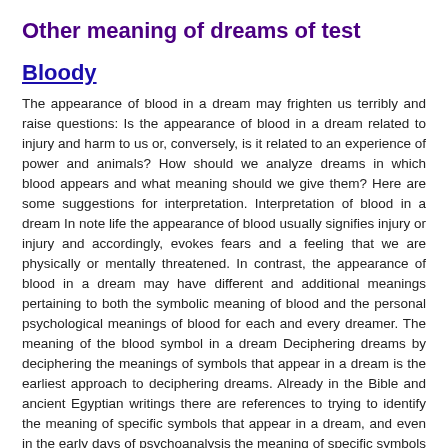Other meaning of dreams of test
Bloody
The appearance of blood in a dream may frighten us terribly and raise questions: Is the appearance of blood in a dream related to injury and harm to us or, conversely, is it related to an experience of power and animals? How should we analyze dreams in which blood appears and what meaning should we give them? Here are some suggestions for interpretation. Interpretation of blood in a dream In note life the appearance of blood usually signifies injury or injury and accordingly, evokes fears and a feeling that we are physically or mentally threatened. In contrast, the appearance of blood in a dream may have different and additional meanings pertaining to both the symbolic meaning of blood and the personal psychological meanings of blood for each and every dreamer. The meaning of the blood symbol in a dream Deciphering dreams by deciphering the meanings of symbols that appear in a dream is the earliest approach to deciphering dreams. Already in the Bible and ancient Egyptian writings there are references to trying to identify the meaning of specific symbols that appear in a dream, and even in the early days of psychoanalysis the meaning of specific symbols was emphasized. Blood in a dream is considered to be an element that can have different